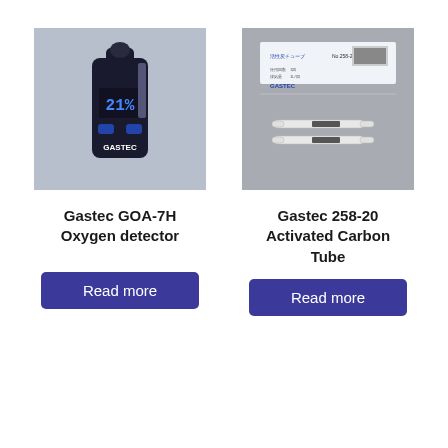[Figure (photo): Gastec GOA-7H Oxygen detector device, black handheld unit with digital display showing numbers, GASTEC brand label, on a light blue-grey background]
[Figure (photo): Gastec 258-20 Activated Carbon Tube product packaging with two small glass tubes on a grey background, label showing product information in Japanese and English]
Gastec GOA-7H Oxygen detector
Gastec 258-20 Activated Carbon Tube
Read more
Read more